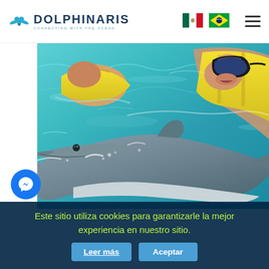[Figure (logo): Dolphinaris logo with whale tail icon, text DOLPHINARIS in dark blue, tagline CONNECTING WITH THE OCEAN]
[Figure (other): Mexican flag emoji]
[Figure (other): Brazilian flag emoji]
[Figure (photo): People in yellow life vests swimming with a dolphin in turquoise water. A child wears a diving mask. The dolphin is prominently in the foreground.]
[Figure (other): Facebook Messenger chat bubble icon, blue circle with lightning bolt]
Este sitio utiliza cookies para garantizarle la mejor experiencia en nuestro sitio.
Leer más
Aceptar